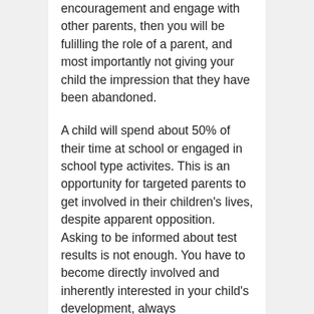encouragement and engage with other parents, then you will be fulilling the role of a parent, and most importantly not giving your child the impression that they have been abandoned.
A child will spend about 50% of their time at school or engaged in school type activites. This is an opportunity for targeted parents to get involved in their children's lives, despite apparent opposition. Asking to be informed about test results is not enough. You have to become directly involved and inherently interested in your child's development, always